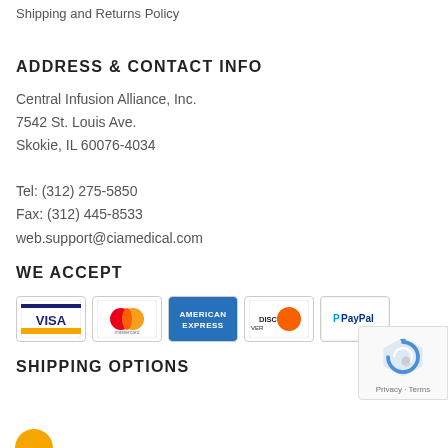Shipping and Returns Policy
ADDRESS & CONTACT INFO
Central Infusion Alliance, Inc.
7542 St. Louis Ave.
Skokie, IL 60076-4034

Tel: (312) 275-5850
Fax: (312) 445-8533
web.support@ciamedical.com
WE ACCEPT
[Figure (illustration): Payment method logos: Visa, Mastercard, American Express, Discover, PayPal]
SHIPPING OPTIONS